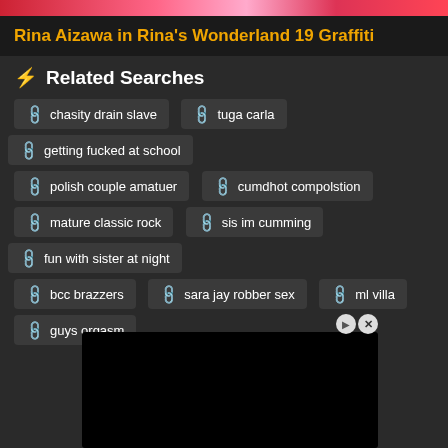Rina Aizawa in Rina's Wonderland 19 Graffiti
⚡ Related Searches
chasity drain slave
tuga carla
getting fucked at school
polish couple amatuer
cumdhot compolstion
mature classic rock
sis im cumming
fun with sister at night
bcc brazzers
sara jay robber sex
ml villa
guys orgasm
[Figure (other): Black advertisement box with close buttons]